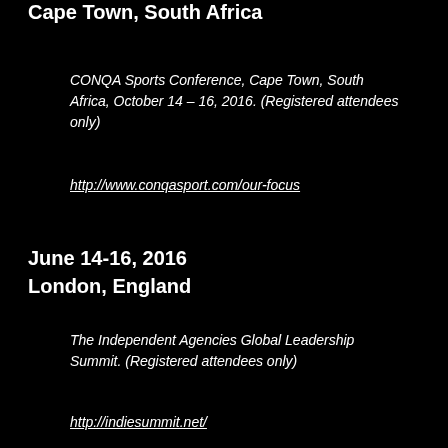Cape Town, South Africa
CONQA Sports Conference, Cape Town, South Africa, October 14 – 16, 2016. (Registered attendees only)
http://www.conqasport.com/our-focus
June 14-16, 2016
London, England
The Independent Agencies Global Leadership Summit. (Registered attendees only)
http://indiesummit.net/